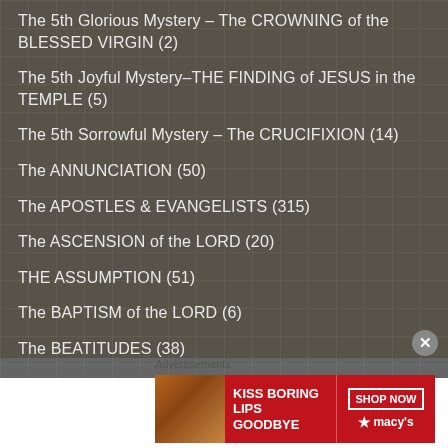The 5th Glorious Mystery – The CROWNING of the BLESSED VIRGIN (2)
The 5th Joyful Mystery–THE FINDING of JESUS in the TEMPLE (5)
The 5th Sorrowful Mystery – The CRUCIFIXION (14)
The ANNUNCIATION (50)
The APOSTLES & EVANGELISTS (315)
The ASCENSION of the LORD (20)
THE ASSUMPTION (51)
The BAPTISM of the LORD (6)
The BEATITUDES (38)
Advertisements
[Figure (photo): Advertisement banner for Macy's lipstick promotion reading 'KISS BORING LIPS GOODBYE' with SHOP NOW button and Macy's logo]